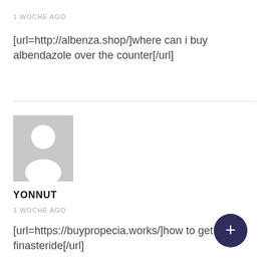1 WOCHE AGO
[url=http://albenza.shop/]where can i buy albendazole over the counter[/url]
[Figure (illustration): Generic user avatar placeholder: gray square with white silhouette of a person]
YONNUT
1 WOCHE AGO
[url=https://buypropecia.works/]how to get finasteride[/url]
[Figure (other): Floating action button: dark navy circle with white plus sign]